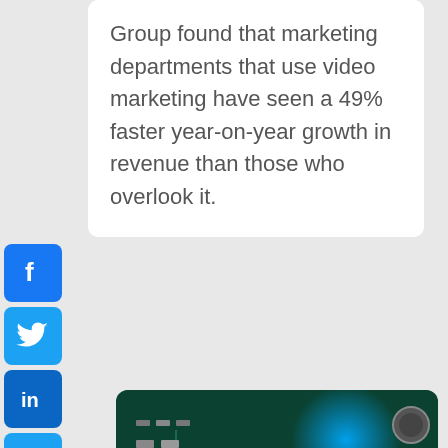Group found that marketing departments that use video marketing have seen a 49% faster year-on-year growth in revenue than those who overlook it.
[Figure (photo): Close-up photograph of a green circuit board with a large dark processor chip in the center, smaller electronic components, and glowing blue light effects suggesting digital connectivity.]